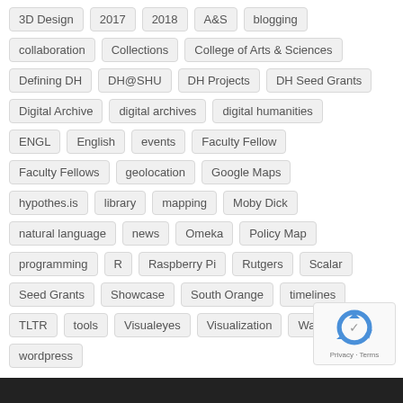3D Design
2017
2018
A&S
blogging
collaboration
Collections
College of Arts & Sciences
Defining DH
DH@SHU
DH Projects
DH Seed Grants
Digital Archive
digital archives
digital humanities
ENGL
English
events
Faculty Fellow
Faculty Fellows
geolocation
Google Maps
hypothes.is
library
mapping
Moby Dick
natural language
news
Omeka
Policy Map
programming
R
Raspberry Pi
Rutgers
Scalar
Seed Grants
Showcase
South Orange
timelines
TLTR
tools
Visualeyes
Visualization
Walsh Library
wordpress
[Figure (logo): reCAPTCHA logo with Privacy and Terms text]